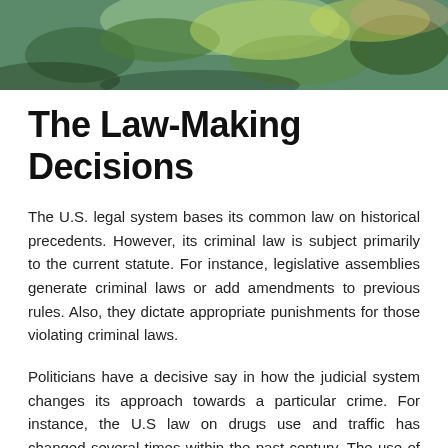[Figure (photo): Close-up photo of green plants/hemp leaves with blurred background in warm and green tones]
The Law-Making Decisions
The U.S. legal system bases its common law on historical precedents. However, its criminal law is subject primarily to the current statute. For instance, legislative assemblies generate criminal laws or add amendments to previous rules. Also, they dictate appropriate punishments for those violating criminal laws.
Politicians have a decisive say in how the judicial system changes its approach towards a particular crime. For instance, the U.S law on drugs use and traffic has changed several times within the past century. The use of hemp-based products has put